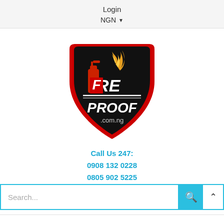Login
NGN ▼
[Figure (logo): FireProof.com.ng shield logo — black shield with red border, red fire extinguisher, flame graphic, and white text reading FIRE PROOF .com.ng]
Call Us 247:
0908 132 0228
0805 902 5225